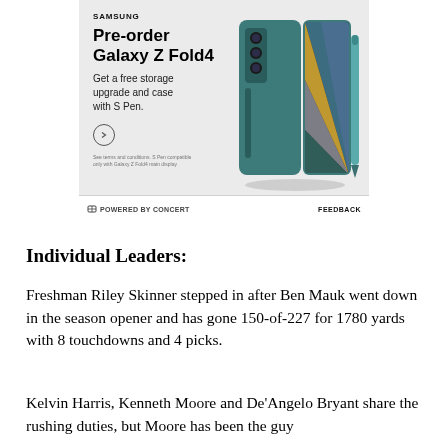[Figure (illustration): Samsung advertisement for Galaxy Z Fold4 pre-order. White/gray background with Samsung branding, text 'Pre-order Galaxy Z Fold4', 'Get a free storage upgrade and case with S Pen.', a circular arrow button, fine print, and an image of the folded phone with S Pen in teal color.]
⊟ POWERED BY CONCERT    FEEDBACK
Individual Leaders:
Freshman Riley Skinner stepped in after Ben Mauk went down in the season opener and has gone 150-of-227 for 1780 yards with 8 touchdowns and 4 picks.
Kelvin Harris, Kenneth Moore and De'Angelo Bryant share the rushing duties, but Moore has been the guy